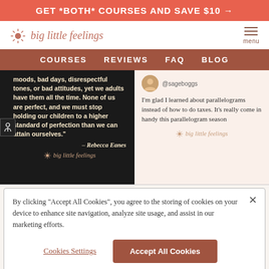GET *BOTH* COURSES AND SAVE $10 →
[Figure (logo): Big Little Feelings logo with sun/starburst icon and italic text 'big little feelings']
COURSES  REVIEWS  FAQ  BLOG
[Figure (screenshot): Dark card with quote: 'moods, bad days, disrespectful tones, or bad attitudes, yet we adults have them all the time. None of us are perfect, and we must stop holding our children to a higher standard of perfection than we can attain ourselves.' – Rebecca Eanes, with Big Little Feelings branding]
[Figure (screenshot): Light card with @sageboggs review: 'I'm glad I learned about parallelograms instead of how to do taxes. It's really come in handy this parallelogram season', with Big Little Feelings branding]
By clicking "Accept All Cookies", you agree to the storing of cookies on your device to enhance site navigation, analyze site usage, and assist in our marketing efforts.
Cookies Settings
Accept All Cookies